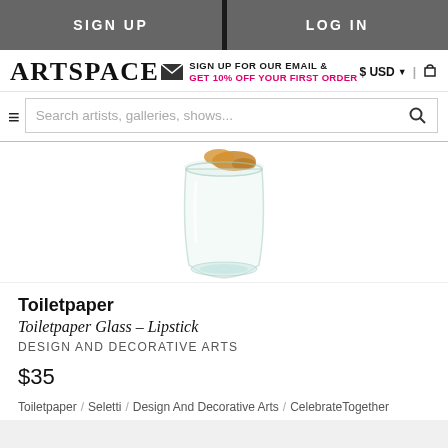SIGN UP | LOG IN
ARTSPACE — SIGN UP FOR OUR EMAIL & GET 10% OFF YOUR FIRST ORDER — $ USD | cart
Search artists, galleries, shows...
[Figure (photo): A clear glass tumbler with lipstick print design, partially visible, product photo on white background]
Toiletpaper
Toiletpaper Glass – Lipstick
DESIGN AND DECORATIVE ARTS
$35
Toiletpaper / Seletti / Design And Decorative Arts / CelebrateTogether